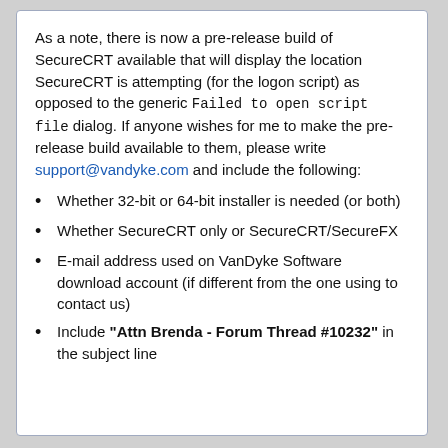As a note, there is now a pre-release build of SecureCRT available that will display the location SecureCRT is attempting (for the logon script) as opposed to the generic Failed to open script file dialog. If anyone wishes for me to make the pre-release build available to them, please write support@vandyke.com and include the following:
Whether 32-bit or 64-bit installer is needed (or both)
Whether SecureCRT only or SecureCRT/SecureFX
E-mail address used on VanDyke Software download account (if different from the one using to contact us)
Include "Attn Brenda - Forum Thread #10232" in the subject line